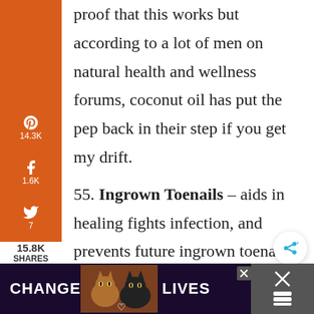proof that this works but according to a lot of men on natural health and wellness forums, coconut oil has put the pep back in their step if you get my drift.
55. Ingrown Toenails – aids in healing fights infection, and prevents future ingrown toenails.
[Figure (screenshot): Social media share sidebar with Pinterest (14.3K), Facebook (1.6K), Twitter (7), Yahoo, Email, Print share buttons in orange]
15.8K SHARES
[Figure (photo): Advertisement banner at bottom showing cats with text CHANGE LIVES]